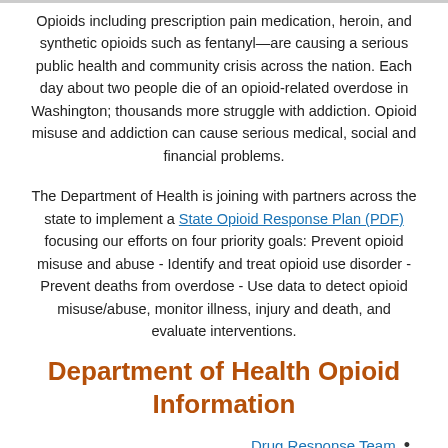Opioids including prescription pain medication, heroin, and synthetic opioids such as fentanyl—are causing a serious public health and community crisis across the nation. Each day about two people die of an opioid-related overdose in Washington; thousands more struggle with addiction. Opioid misuse and addiction can cause serious medical, social and financial problems.
The Department of Health is joining with partners across the state to implement a State Opioid Response Plan (PDF) focusing our efforts on four priority goals: Prevent opioid misuse and abuse - Identify and treat opioid use disorder - Prevent deaths from overdose - Use data to detect opioid misuse/abuse, monitor illness, injury and death, and evaluate interventions.
Department of Health Opioid Information
Drug Response Team
Opioid Overdose Prevention